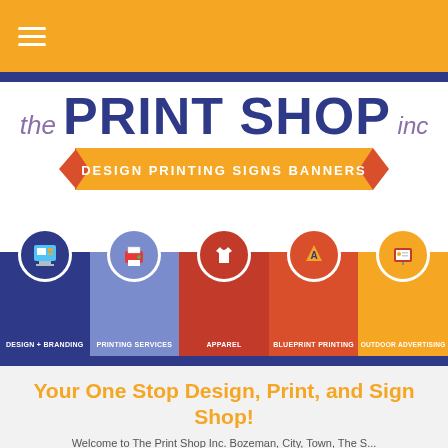[Figure (logo): The Print Shop Inc logo with tagline ribbon: DESIGN PRINTING SIGNS BANNERS]
[Figure (infographic): Navigation bar with 5 service categories: DESIGN + BRANDING, PRINTING SERVICES, APPAREL, BLUEPRINT PRINTING, OUTDOOR ADVERTISING with circular icons]
Your One Stop Design, Print, and Sign Shop!
Welcome to The Print Shop Inc. Bozeman, City, Town, The S...